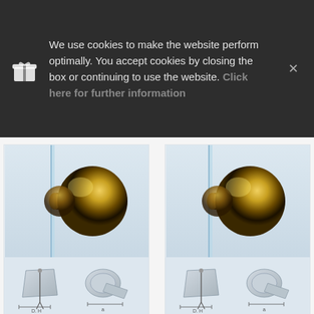We use cookies to make the website perform optimally. You accept cookies by closing the box or continuing to use the website. Click here for further information
[Figure (photo): Two door knobs (brass/gold finish) mounted on glass panels, shown side by side. Each knob has a round ball shape on a stem mounted to a glass surface. Below each knob photo are technical dimension diagrams.]